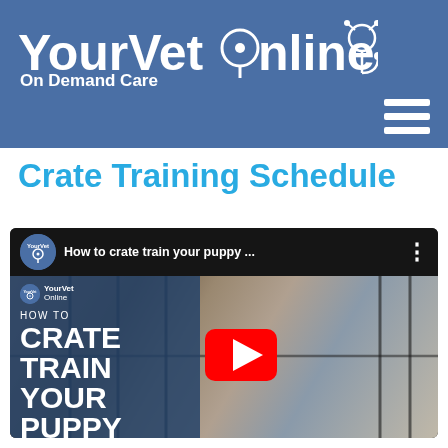[Figure (logo): YourVet Online 'On Demand Care' logo with stethoscope icon on blue header bar background, plus hamburger menu icon]
Crate Training Schedule
[Figure (screenshot): YouTube video thumbnail for 'How to crate train your puppy...' by YourVet Online. Shows a pug puppy behind crate bars. Overlay text reads HOW TO CRATE TRAIN YOUR PUPPY with a YouTube play button. Top bar shows channel icon and video title.]